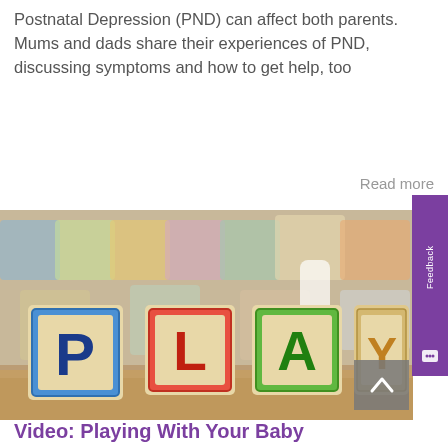Postnatal Depression (PND) can affect both parents. Mums and dads share their experiences of PND, discussing symptoms and how to get help, too
Read more
[Figure (photo): Wooden alphabet blocks spelling PLAY with colorful letters on a wooden surface, with blurred blocks in background]
Video: Playing With Your Baby